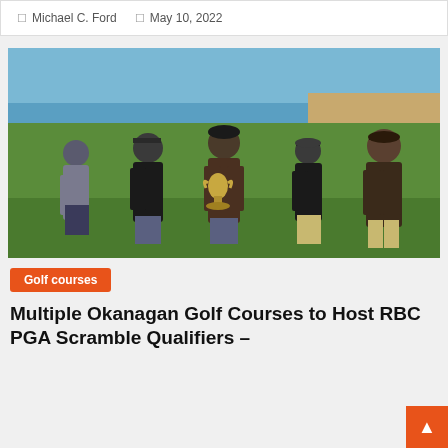Michael C. Ford   May 10, 2022
[Figure (photo): Five men standing on a golf course near the ocean, posing with a large trophy cup. All wearing dark athletic/casual clothing and caps.]
Golf courses
Multiple Okanagan Golf Courses to Host RBC PGA Scramble Qualifiers –